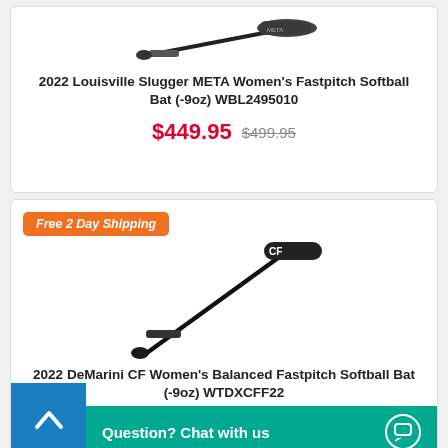[Figure (photo): Louisville Slugger META softball bat shown diagonally, dark colored]
2022 Louisville Slugger META Women's Fastpitch Softball Bat (-9oz) WBL2495010
$449.95  $499.95
Free 2 Day Shipping
[Figure (photo): DeMarini CF softball bat shown diagonally, black with CF branding]
2022 DeMarini CF Women's Balanced Fastpitch Softball Bat (-9oz) WTDXCFF22